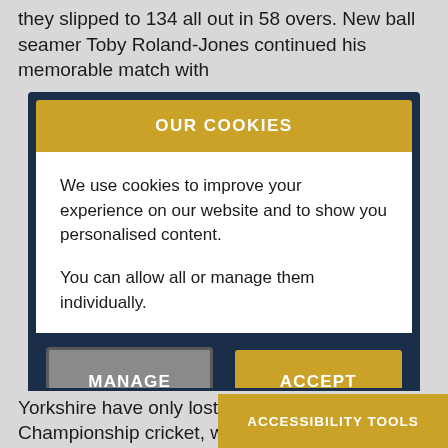they slipped to 134 all out in 58 overs. New ball seamer Toby Roland-Jones continued his memorable match with
[Figure (screenshot): Cookie consent modal dialog with dark navy border. Header bar in gold/amber color reads 'OUR COOKIES'. Body text reads: 'We use cookies to improve your experience on our website and to show you personalised content. You can allow all or manage them individually.' Two buttons at bottom: grey 'MANAGE COOKIES' button and gold 'ACCEPT ALL' button.]
Yorkshire have only lost tw
Championship cricket, with
[Figure (screenshot): Gold/amber accessibility tools bar at bottom right of screen reading 'ACCESSIBILITY TOOLS' in white bold uppercase text.]